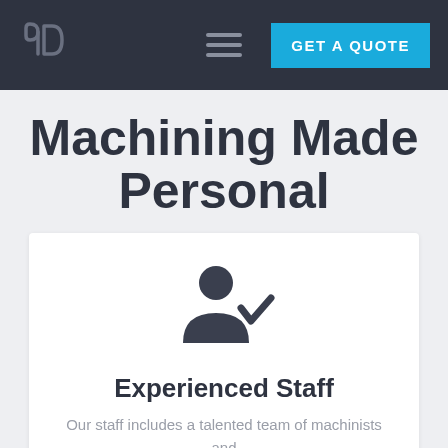90D | ≡ | GET A QUOTE
Machining Made Personal
[Figure (illustration): Person with checkmark icon representing experienced staff]
Experienced Staff
Our staff includes a talented team of machinists and